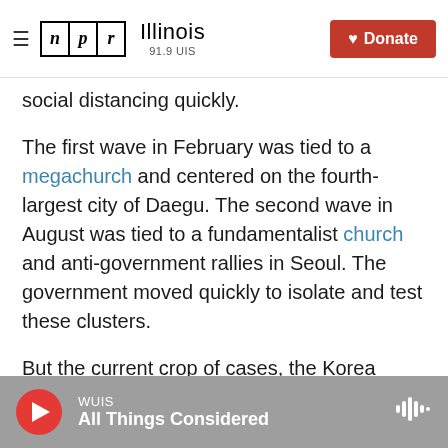NPR Illinois 91.9 UIS — Donate
social distancing quickly.
The first wave in February was tied to a megachurch and centered on the fourth-largest city of Daegu. The second wave in August was tied to a fundamentalist church and anti-government rallies in Seoul. The government moved quickly to isolate and test these clusters.
But the current crop of cases, the Korea Disease Control and Prevention Agency (KDCA) says, appears to have no links to any major groups or events. Instead, the virus appears to be spreading quietly through community infection, involving
WUIS — All Things Considered